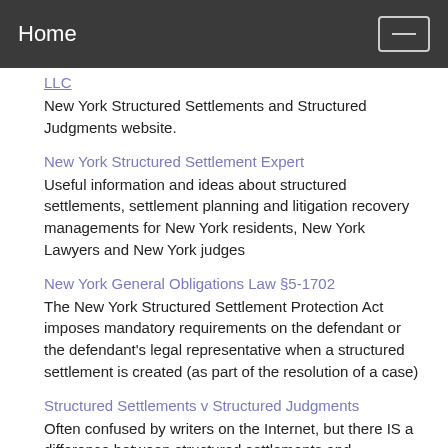Home
LLC
New York Structured Settlements and Structured Judgments website.
New York Structured Settlement Expert
Useful information and ideas about structured settlements, settlement planning and litigation recovery managements for New York residents, New York Lawyers and New York judges
New York General Obligations Law §5-1702
The New York Structured Settlement Protection Act imposes mandatory requirements on the defendant or the defendant's legal representative when a structured settlement is created (as part of the resolution of a case)
Structured Settlements v Structured Judgments
Often confused by writers on the Internet, but there IS a difference between structured settlements and structured judgments under CPLR Articles 50A or 50B. Find out more...